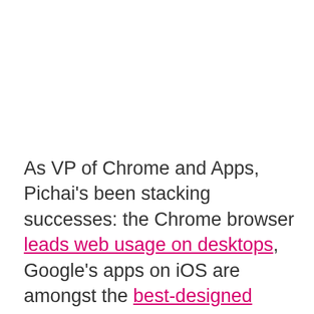As VP of Chrome and Apps, Pichai's been stacking successes: the Chrome browser leads web usage on desktops, Google's apps on iOS are amongst the best-designed anywhere, and the Chromebook Pixel has shown just what the company can do when it puts its mind to a product at the (very) high-end. Now, with Andy Rubin moving on to "a new chapter" within Google, Pichai's next job is to